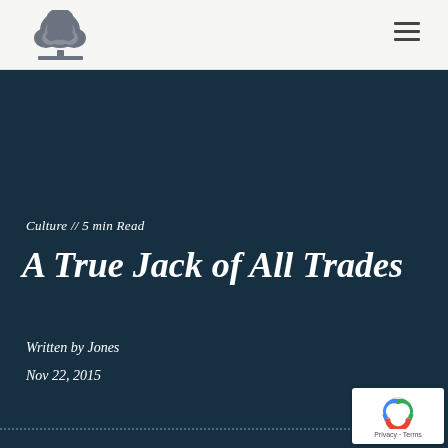Culture // 5 min Read
A True Jack of All Trades
Written by Jones
Nov 22, 2015